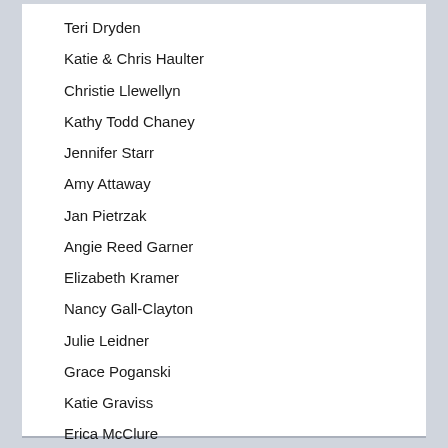Teri Dryden
Katie & Chris Haulter
Christie Llewellyn
Kathy Todd Chaney
Jennifer Starr
Amy Attaway
Jan Pietrzak
Angie Reed Garner
Elizabeth Kramer
Nancy Gall-Clayton
Julie Leidner
Grace Poganski
Katie Graviss
Erica McClure
Erin Jones
Tom Schulz
Will Devary